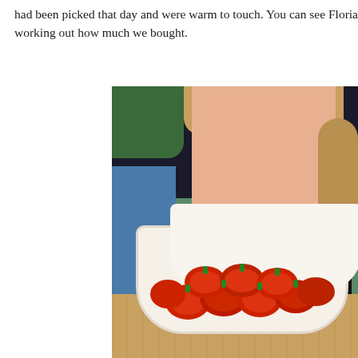had been picked that day and were warm to touch. You can see Floria working out how much we bought.
[Figure (photo): A young girl with blonde braided hair wearing a black t-shirt with rainbow stripes and a white apron, leaning over a large white bowl filled with fresh red tomatoes/peppers on a wooden surface. She is reaching into the bowl with one hand.]